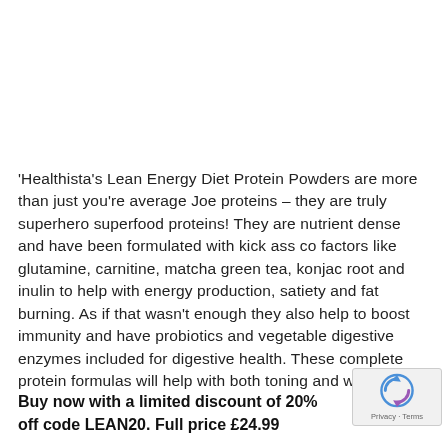'Healthista's Lean Energy Diet Protein Powders are more than just you're average Joe proteins – they are truly superhero superfood proteins! They are nutrient dense and have been formulated with kick ass co factors like glutamine, carnitine, matcha green tea, konjac root and inulin to help with energy production, satiety and fat burning. As if that wasn't enough they also help to boost immunity and have probiotics and vegetable digestive enzymes included for digestive health. These complete protein formulas will help with both toning and weight loss.'
Buy now with a limited discount of 20% off code LEAN20. Full price £24.99